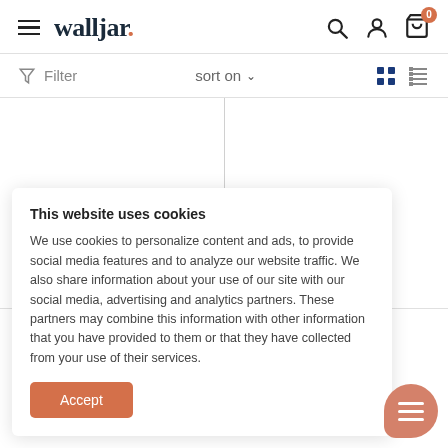walljar. [hamburger menu, search, account, cart icons]
Filter  sort on ▾  [grid view] [list view]
[Figure (screenshot): Product grid area — two empty/loading product columns separated by a vertical line]
This website uses cookies
We use cookies to personalize content and ads, to provide social media features and to analyze our website traffic. We also share information about your use of our site with our social media, advertising and analytics partners. These partners may combine this information with other information that you have provided to them or that they have collected from your use of their services.
Accept